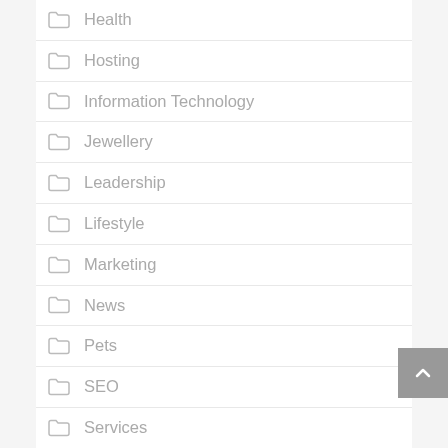Health
Hosting
Information Technology
Jewellery
Leadership
Lifestyle
Marketing
News
Pets
SEO
Services
Sports